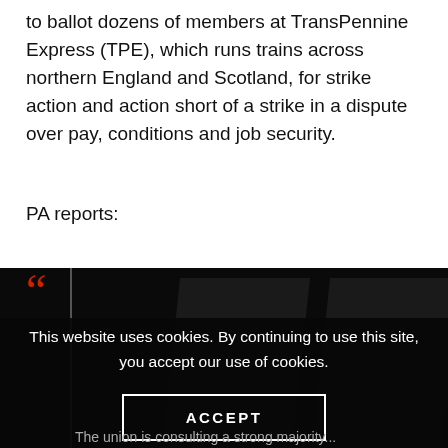to ballot dozens of members at TransPennine Express (TPE), which runs trains across northern England and Scotland, for strike action and action short of a strike in a dispute over pay, conditions and job security.
PA reports:
[Figure (screenshot): Large decorative quotation marks (double chevrons) in black background area, forming a pull-quote visual style element]
This website uses cookies. By continuing to use this site, you accept our use of cookies.
ACCEPT
The union is consulting a strong majority...